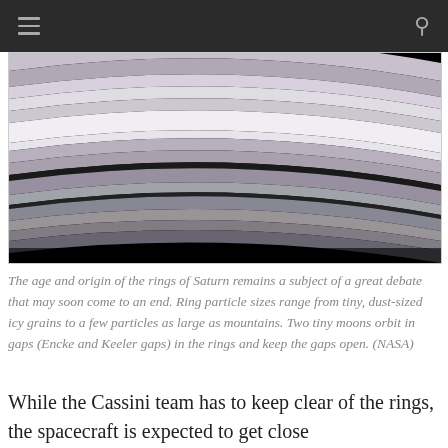[Figure (photo): Close-up photograph of Saturn's rings showing concentric bands in shades of white, gray, and black against a dark background, captured by NASA's Cassini spacecraft.]
The age and origin of the rings of Saturn remains a subject of a great debate that may soon come to an end. Ring particle sizes range from tiny, dust-sized icy grains to a few particles as large as mountains. Two tiny moons orbit in gaps (Encke and Keeler gaps) in the rings and keep the gaps open. (NASA)
While the Cassini team has to keep clear of the rings, the spacecraft is expected to get close